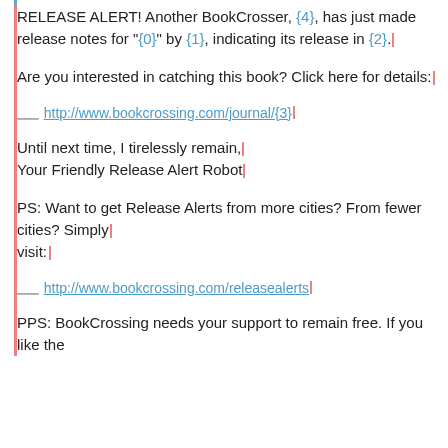RELEASE ALERT! Another BookCrosser, {4}, has just made release notes for "{0}" by {1}, indicating its release in {2}.
Are you interested in catching this book? Click here for details:
http://www.bookcrossing.com/journal/{3}
Until next time, I tirelessly remain,
Your Friendly Release Alert Robot
PS: Want to get Release Alerts from more cities? From fewer cities? Simply
visit:
http://www.bookcrossing.com/releasealerts
PPS: BookCrossing needs your support to remain free. If you like the